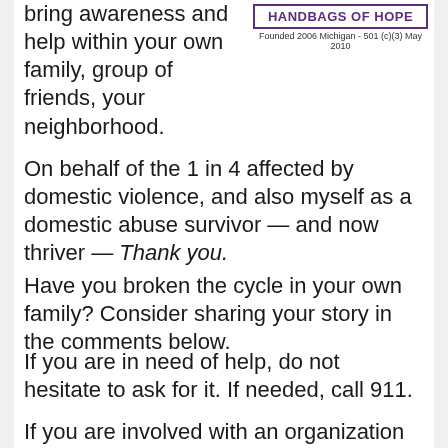bring awareness and help within your own family, group of friends, your neighborhood.
[Figure (logo): Handbags of Hope logo with purple border. Text: HANDBAGS OF HOPE. Founded 2006 Michigan - 501 (c)(3) May 2010]
On behalf of the 1 in 4 affected by domestic violence, and also myself as a domestic abuse survivor — and now thriver — Thank you.
Have you broken the cycle in your own family? Consider sharing your story in the comments below.
If you are in need of help, do not hesitate to ask for it. If needed, call 911.
If you are involved with an organization that